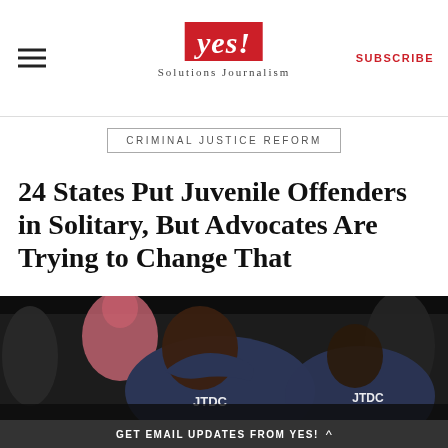yes! Solutions Journalism | SUBSCRIBE
CRIMINAL JUSTICE REFORM
24 States Put Juvenile Offenders in Solitary, But Advocates Are Trying to Change That
[Figure (photo): Young men in JTDC (Juvenile Temporary Detention Center) uniforms seated with heads down, with a person in a pink top visible in the background.]
GET EMAIL UPDATES FROM YES!